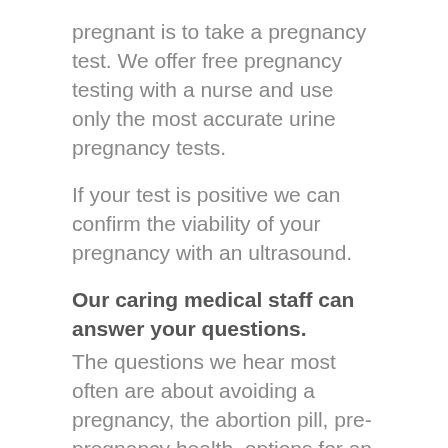pregnant is to take a pregnancy test. We offer free pregnancy testing with a nurse and use only the most accurate urine pregnancy tests.
If your test is positive we can confirm the viability of your pregnancy with an ultrasound.
Our caring medical staff can answer your questions.
The questions we hear most often are about avoiding a pregnancy, the abortion pill, pre-pregnancy health, options for an unintended pregnancy, prenatal care, the accuracy of pregnancy tests, miscarriage and ectopic pregnancy.
Whatever your question, we have a staff